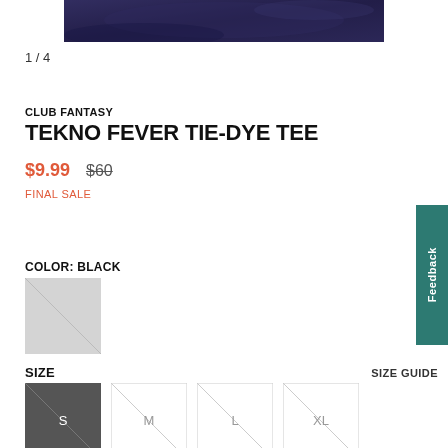[Figure (photo): Partial product image cropped at top — dark navy/black tie-dye tee fabric]
1 / 4
CLUB FANTASY
TEKNO FEVER TIE-DYE TEE
$9.99  $60
FINAL SALE
COLOR: BLACK
[Figure (photo): Color swatch placeholder — light grey square with diagonal line, representing Black color option]
SIZE    SIZE GUIDE
[Figure (photo): Size selector buttons: S (dark grey, selected), M, L, XL (light grey with diagonal lines)]